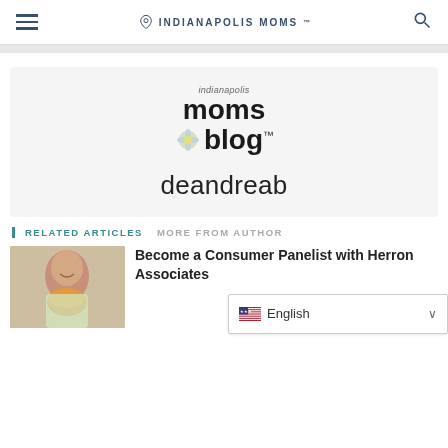INDIANAPOLIS MOMS
[Figure (logo): Indianapolis Moms Blog logo with flower icon]
deandreab
RELATED ARTICLES   MORE FROM AUTHOR
[Figure (photo): Woman holding food, smiling]
Become a Consumer Panelist with Herron Associates